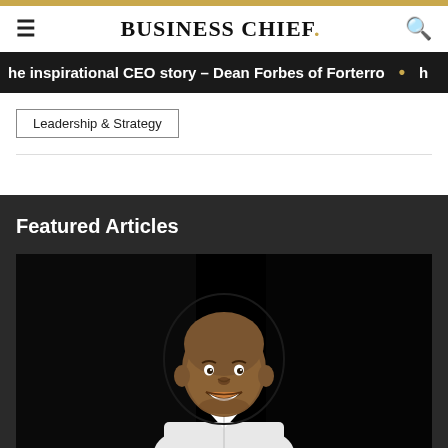BUSINESS CHIEF.
he inspirational CEO story – Dean Forbes of Forterro
Leadership & Strategy
Featured Articles
[Figure (photo): Portrait of a smiling bald Black man wearing a white shirt, photographed against a dark/black background.]